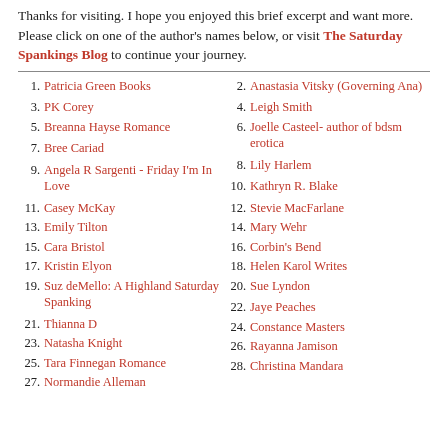Thanks for visiting. I hope you enjoyed this brief excerpt and want more. Please click on one of the author's names below, or visit The Saturday Spankings Blog to continue your journey.
1. Patricia Green Books
2. Anastasia Vitsky (Governing Ana)
3. PK Corey
4. Leigh Smith
5. Breanna Hayse Romance
6. Joelle Casteel- author of bdsm erotica
7. Bree Cariad
8. Lily Harlem
9. Angela R Sargenti - Friday I'm In Love
10. Kathryn R. Blake
11. Casey McKay
12. Stevie MacFarlane
13. Emily Tilton
14. Mary Wehr
15. Cara Bristol
16. Corbin's Bend
17. Kristin Elyon
18. Helen Karol Writes
19. Suz deMello: A Highland Saturday Spanking
20. Sue Lyndon
21. Thianna D
22. Jaye Peaches
23. Natasha Knight
24. Constance Masters
25. Tara Finnegan Romance
26. Rayanna Jamison
27. Normandie Alleman
28. Christina Mandara